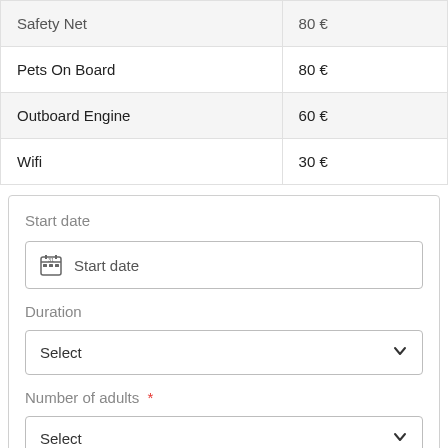| Item | Price |
| --- | --- |
| Safety Net | 80 € |
| Pets On Board | 80 € |
| Outboard Engine | 60 € |
| Wifi | 30 € |
Start date
Start date (date input field)
Duration
Select (dropdown)
Number of adults *
Select (dropdown)